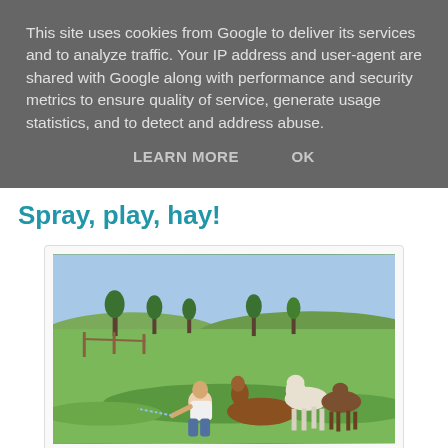This site uses cookies from Google to deliver its services and to analyze traffic. Your IP address and user-agent are shared with Google along with performance and security metrics to ensure quality of service, generate usage statistics, and to detect and address abuse.
LEARN MORE   OK
Spray, play, hay!
[Figure (photo): A person crouching and spraying water on a group of alpacas or sheep in a green field with trees in the background.]
A captive audience
[Figure (photo): Partial view of another outdoor scene, cropped at bottom of page.]